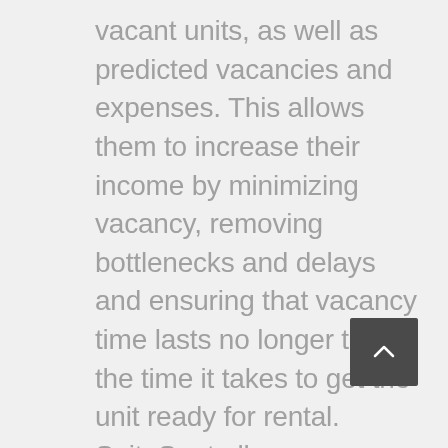vacant units, as well as predicted vacancies and expenses. This allows them to increase their income by minimizing vacancy, removing bottlenecks and delays and ensuring that vacancy time lasts no longer than the time it takes to get the unit ready for rental. SuiteSpot allows stakeholders to plan their budget, including insurance premiums and future cash flow, with a high level of confidence.